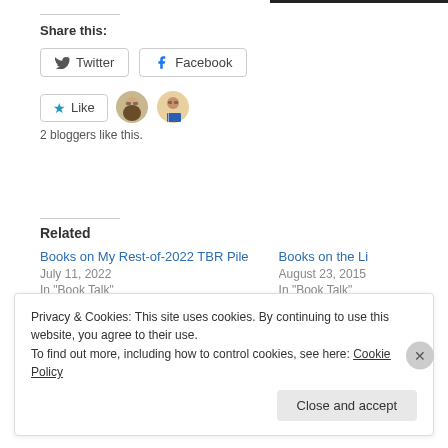Share this:
Twitter  Facebook
Like
2 bloggers like this.
Related
Books on My Rest-of-2022 TBR Pile
July 11, 2022
In "Book Talk"
Books on the Li
August 23, 2015
In "Book Talk"
Privacy & Cookies: This site uses cookies. By continuing to use this website, you agree to their use.
To find out more, including how to control cookies, see here: Cookie Policy
Close and accept